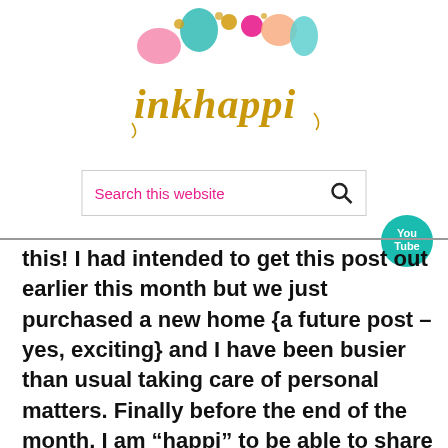[Figure (logo): inkhappi blog logo with colorful balloons and gold script text]
[Figure (other): YouTube button circle icon in teal]
[Figure (other): Search this website search box with magnifying glass icon]
this! I had intended to get this post out earlier this month but we just purchased a new home {a future post – yes, exciting} and I have been busier than usual taking care of personal matters. Finally before the end of the month, I am “happi” to be able to share something that will benefit Domestic Violence Awareness.